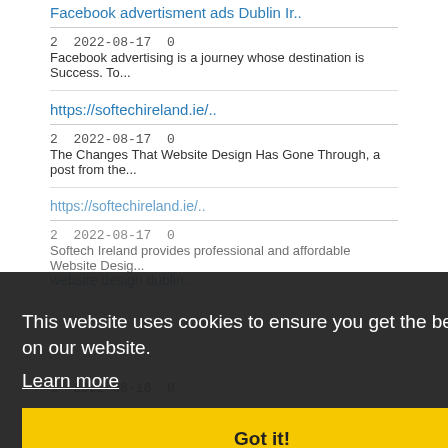Facebook advertisment ads Dublin Ir..
2  2022-08-17  0
Facebook advertising is a journey whose destination is Success. To...
https://softechireland.ie/..
2  2022-08-17  0
The Changes That Website Design Has Gone Through, a post from the...
https://softechireland.ie/..
2  2022-08-17  0
Softech Ireland provides professional and affordable Website Desig...
website design dublin..
5  2022-08-16  0
This website uses cookies to ensure you get the best experience on our website.
Learn more
Got it!